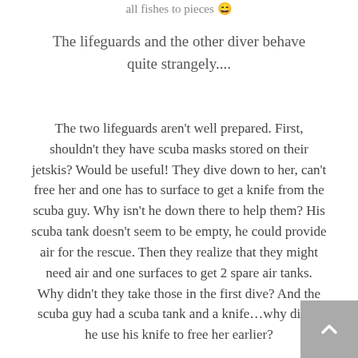all fishes to pieces 😄
The lifeguards and the other diver behave quite strangely....
The two lifeguards aren't well prepared. First, shouldn't they have scuba masks stored on their jetskis? Would be useful! They dive down to her, can't free her and one has to surface to get a knife from the scuba guy. Why isn't he down there to help them? His scuba tank doesn't seem to be empty, he could provide air for the rescue. Then they realize that they might need air and one surfaces to get 2 spare air tanks. Why didn't they take those in the first dive? And the scuba guy had a scuba tank and a knife…why didn't he use his knife to free her earlier?